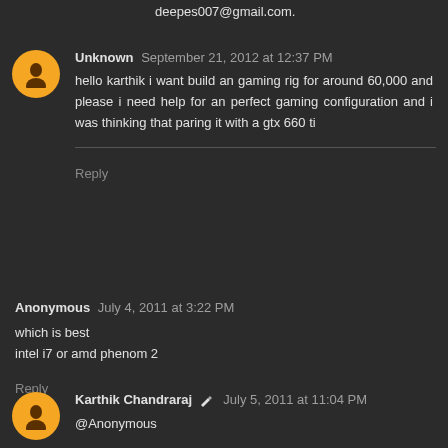deepes007@gmail.com.
Unknown September 21, 2012 at 12:37 PM
hello karthik i want build an gaming rig for around 60,000 and please i need help for an perfect gaming configuration and i was thinking that paring it with a gtx 660 ti
Reply
Anonymous July 4, 2011 at 3:22 PM
which is best
intel i7 or amd phenom 2
Reply
Karthik Chandraraj July 5, 2011 at 11:04 PM
@Anonymous